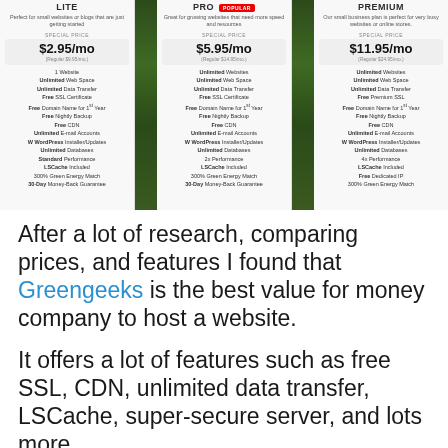[Figure (screenshot): Pricing comparison table for web hosting plans showing three columns: Lite ($2.95/mo), Pro ($5.95/mo), and Premium ($11.95/mo) with features listed for each plan, separated by forest/nature image dividers.]
After a lot of research, comparing prices, and features I found that Greengeeks is the best value for money company to host a website.
It offers a lot of features such as free SSL, CDN, unlimited data transfer, LSCache, super-secure server, and lots more.